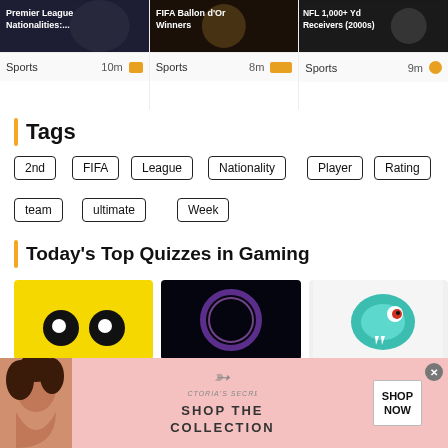[Figure (screenshot): Three sports quiz card thumbnails: 'Premier League Nationalities:...', 'FIFA Ballon d'Or Winners', 'NFL 1,000+ Yd Receivers (2000s)' with Sports category and time labels (10m, 8m, 9m)]
Tags
2nd
FIFA
League
Nationality
Player
Rating
team
ultimate
Week
Today's Top Quizzes in Gaming
[Figure (screenshot): Three gaming quiz thumbnail images: yellow background with emoji-style eyes, dark space/eclipse image, cartoon snake/reptile illustration]
[Figure (advertisement): Victoria's Secret advertisement banner with model photo, VS logo, 'SHOP THE COLLECTION' text, and 'SHOP NOW' button]